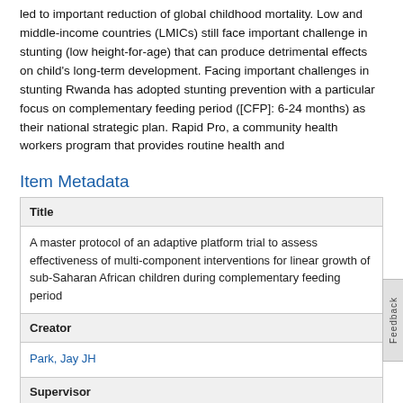led to important reduction of global childhood mortality. Low and middle-income countries (LMICs) still face important challenge in stunting (low height-for-age) that can produce detrimental effects on child's long-term development. Facing important challenges in stunting Rwanda has adopted stunting prevention with a particular focus on complementary feeding period ([CFP]: 6-24 months) as their national strategic plan. Rapid Pro, a community health workers program that provides routine health and
Item Metadata
| Field | Value |
| --- | --- |
| Title | A master protocol of an adaptive platform trial to assess effectiveness of multi-component interventions for linear growth of sub-Saharan African children during complementary feeding period |
| Creator | Park, Jay JH |
| Supervisor | Lester, Richard |